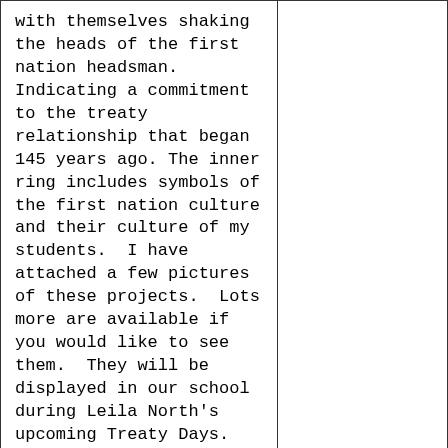with themselves shaking the heads of the first nation headsman.  Indicating a commitment to the treaty relationship that began 145 years ago. The inner ring includes symbols of the first nation culture and their culture of my students.  I have attached a few pictures of these projects.  Lots more are available if you would like to see them.  They will be displayed in our school during Leila North's upcoming Treaty Days.
Jennilee @ Elwick

In my Grade 2/3 classroom, we